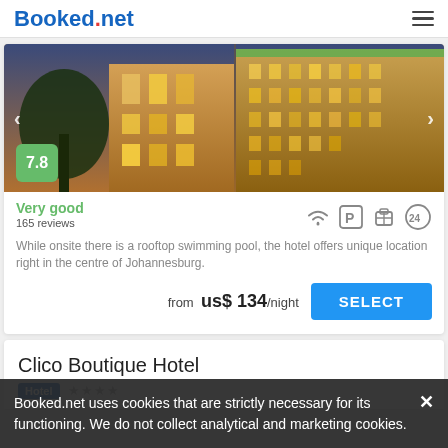Booked.net
[Figure (photo): Hotel building exterior at night/dusk, showing a multi-story building with illuminated windows]
Very good
165 reviews
While onsite there is a rooftop swimming pool, the hotel offers unique location right in the centre of Johannesburg.
from us$ 134/night
SELECT
Clico Boutique Hotel
Hotel ★★★★
Booked.net uses cookies that are strictly necessary for its functioning. We do not collect analytical and marketing cookies.